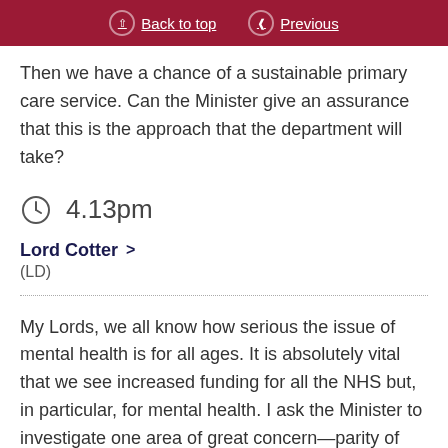Back to top | Previous
Then we have a chance of a sustainable primary care service. Can the Minister give an assurance that this is the approach that the department will take?
4.13pm
Lord Cotter >
(LD)
My Lords, we all know how serious the issue of mental health is for all ages. It is absolutely vital that we see increased funding for all the NHS but, in particular, for mental health. I ask the Minister to investigate one area of great concern—parity of